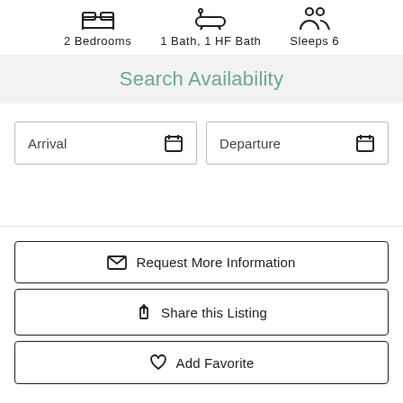[Figure (infographic): Three icons for property amenities: bed icon (2 Bedrooms), bath icon (1 Bath, 1 HF Bath), people icon (Sleeps 6)]
Search Availability
[Figure (screenshot): Arrival date input field with calendar icon]
[Figure (screenshot): Departure date input field with calendar icon]
Request More Information
Share this Listing
Add Favorite